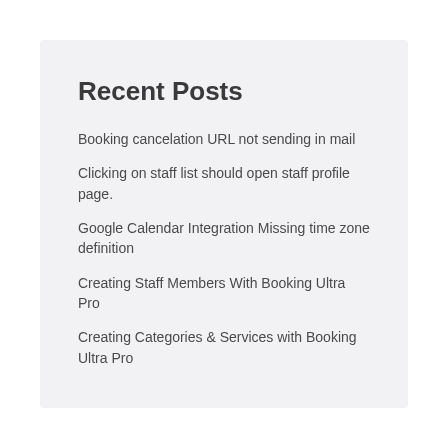Recent Posts
Booking cancelation URL not sending in mail
Clicking on staff list should open staff profile page.
Google Calendar Integration Missing time zone definition
Creating Staff Members With Booking Ultra Pro
Creating Categories & Services with Booking Ultra Pro